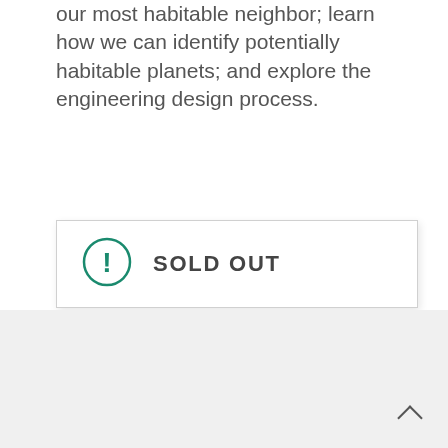our most habitable neighbor; learn how we can identify potentially habitable planets; and explore the engineering design process.
SOLD OUT
[Figure (photo): Circular cropped photo of a person outdoors near water and greenery, wearing a blue garment, with a rope or wire visible, set against a light gray background section.]